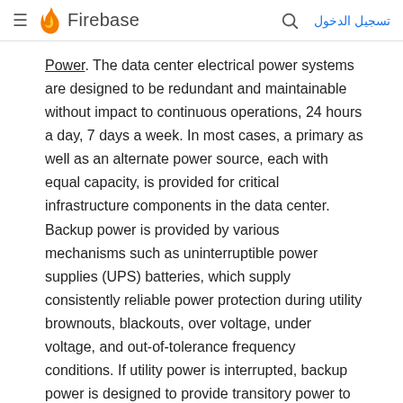≡ Firebase | تسجيل الدخول
Power. The data center electrical power systems are designed to be redundant and maintainable without impact to continuous operations, 24 hours a day, 7 days a week. In most cases, a primary as well as an alternate power source, each with equal capacity, is provided for critical infrastructure components in the data center. Backup power is provided by various mechanisms such as uninterruptible power supplies (UPS) batteries, which supply consistently reliable power protection during utility brownouts, blackouts, over voltage, under voltage, and out-of-tolerance frequency conditions. If utility power is interrupted, backup power is designed to provide transitory power to the data center, at full capacity, for up to 10 minutes until the backup generator systems take over. The backup generators are capable of automatically starting up within seconds to provide